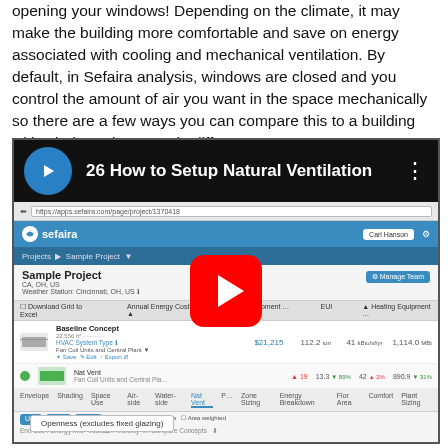opening your windows! Depending on the climate, it may make the building more comfortable and save on energy associated with cooling and mechanical ventilation. By default, in Sefaira analysis, windows are closed and you control the amount of air you want in the space mechanically so there are a few ways you can compare this to a building with windows that open in different ways.
[Figure (screenshot): YouTube video thumbnail showing '26 How to Setup Natural Ventilation' with Sefaira logo, overlaid with a red YouTube play button. Below the title bar is a screenshot of the Sefaira web application showing a Sample Project with baseline concept energy analysis data and a donut chart of energy use. An 'Openness (excludes fixed glazing)' label is visible at the bottom left.]